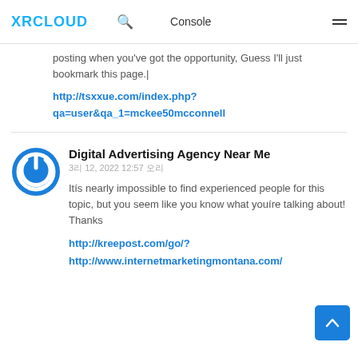XRCLOUD | Console
posting when you've got the opportunity, Guess I'll just bookmark this page.|
http://tsxxue.com/index.php?qa=user&qa_1=mckee50mcconnell
Digital Advertising Agency Near Me
3리 12, 2022 12:57 오리
Itís nearly impossible to find experienced people for this topic, but you seem like you know what youíre talking about! Thanks
http://kreepost.com/go/?
http://www.internetmarketingmontana.com/